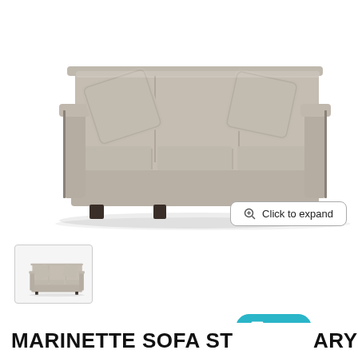[Figure (photo): A light taupe/greige upholstered three-seat sofa with two matching throw pillows, square arms, three seat cushions, and dark wood block feet, shown at an angle on a white background.]
Click to expand
[Figure (photo): Small thumbnail image of the same taupe sofa shown in the main image.]
Chat
MARINETTE SOFA ST…ARY